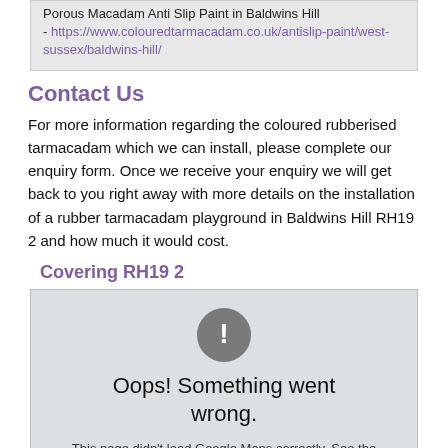Porous Macadam Anti Slip Paint in Baldwins Hill - https://www.colouredtarmacadam.co.uk/antislip-paint/west-sussex/baldwins-hill/
Contact Us
For more information regarding the coloured rubberised tarmacadam which we can install, please complete our enquiry form. Once we receive your enquiry we will get back to you right away with more details on the installation of a rubber tarmacadam playground in Baldwins Hill RH19 2 and how much it would cost.
Covering RH19 2
[Figure (screenshot): Google Maps error box with grey background, exclamation mark circle icon, text 'Oops! Something went wrong.' and sub-text 'This page didn't load Google Maps correctly. See the']